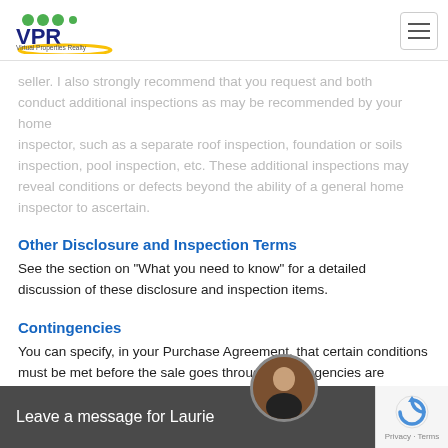[Figure (logo): VPR Virtual Properties Realty logo with green and yellow dots]
seller. I also strongly recommend that you request and both conduct additional inspections as may be recommended by your home inspector, such as a separate roof inspection, foundation or soils inspection, pool inspection, etc. These additional inspections may reveal conditions or defects beyond the ability of a general home inspector to ascertain.
Other Disclosure and Inspection Terms
See the section on "What you need to know" for a detailed discussion of these disclosure and inspection items.
Contingencies
You can specify, in your Purchase Agreement, that certain conditions must be met before the sale goes through. Contingencies are crucial, so be sure to speak up and tell me what's important to you, so that all of your concerns are reflected in the offer. They may include:
Your ab... This co... will
Leave a message for Laurie